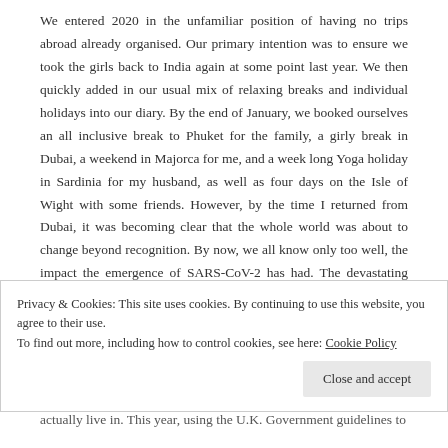We entered 2020 in the unfamiliar position of having no trips abroad already organised. Our primary intention was to ensure we took the girls back to India again at some point last year. We then quickly added in our usual mix of relaxing breaks and individual holidays into our diary. By the end of January, we booked ourselves an all inclusive break to Phuket for the family, a girly break in Dubai, a weekend in Majorca for me, and a week long Yoga holiday in Sardinia for my husband, as well as four days on the Isle of Wight with some friends. However, by the time I returned from Dubai, it was becoming clear that the whole world was about to change beyond recognition. By now, we all know only too well, the impact the emergence of SARS-CoV-2 has had. The devastating effects of COVID-19 have been a matter of daily news for most the year, but the enforced restrictions have also thrown up a number of opportunities for change. I have time this to take a step back
Privacy & Cookies: This site uses cookies. By continuing to use this website, you agree to their use.
To find out more, including how to control cookies, see here: Cookie Policy
actually live in. This year, using the U.K. Government guidelines to